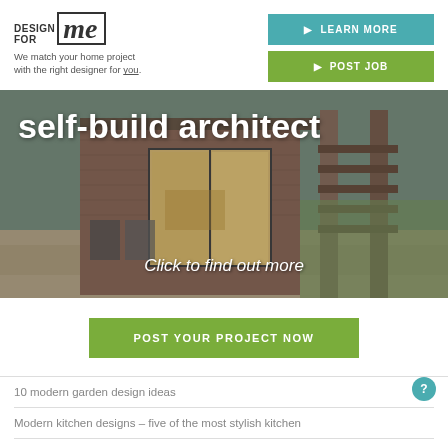[Figure (logo): DesignForMe logo with text 'DESIGN FOR me' and tagline 'We match your home project with the right designer for you.']
LEARN MORE
POST JOB
[Figure (photo): A modern self-build house exterior at dusk with large glass sliding doors, brick walls, and a wooden pergola structure. White text overlay reads 'self-build architect' and 'Click to find out more']
POST YOUR PROJECT NOW
10 modern garden design ideas
Modern kitchen designs – five of the most stylish kitchen